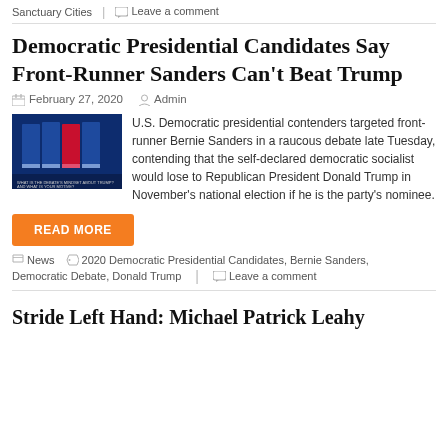Sanctuary Cities | Leave a comment
Democratic Presidential Candidates Say Front-Runner Sanders Can't Beat Trump
February 27, 2020  Admin
[Figure (photo): Photograph of Democratic presidential debate stage with candidates at podiums]
U.S. Democratic presidential contenders targeted front-runner Bernie Sanders in a raucous debate late Tuesday, contending that the self-declared democratic socialist would lose to Republican President Donald Trump in November's national election if he is the party's nominee.
READ MORE
News  2020 Democratic Presidential Candidates, Bernie Sanders, Democratic Debate, Donald Trump | Leave a comment
Stride Left Hand: Michael Patrick Leahy